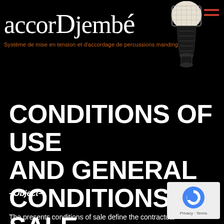accorDjembé – Système de mise en tension et d'accordage de percussions mandingues
CONDITIONS OF USE AND GENERAL CONDITIONS OF SALE
–Object–
The presents conditions of sale define the contractual